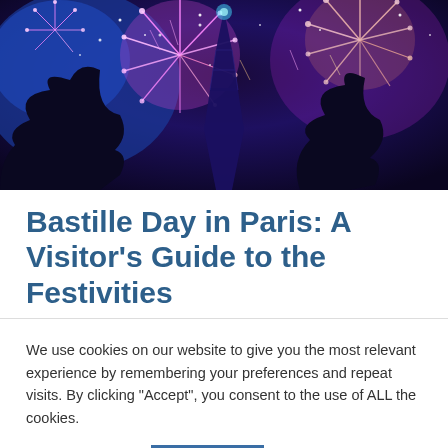[Figure (photo): Fireworks over the Eiffel Tower at night with colorful purple, blue, and pink explosions and silhouetted trees]
Bastille Day in Paris: A Visitor's Guide to the Festivities
We use cookies on our website to give you the most relevant experience by remembering your preferences and repeat visits. By clicking “Accept”, you consent to the use of ALL the cookies.
Cookie settings   ACCEPT